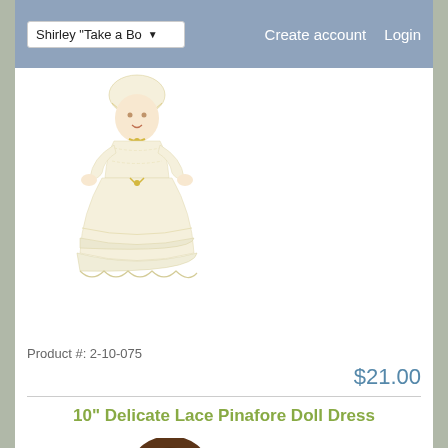Shirley "Take a Bow  Create account  Login
[Figure (photo): Baby doll in a cream/ivory lace christening gown with bonnet and ruffled skirt layers]
Product #: 2-10-075
$21.00
10" Delicate Lace Pinafore Doll Dress
[Figure (photo): Doll with brown hair wearing a pink lace pinafore dress, partially visible]